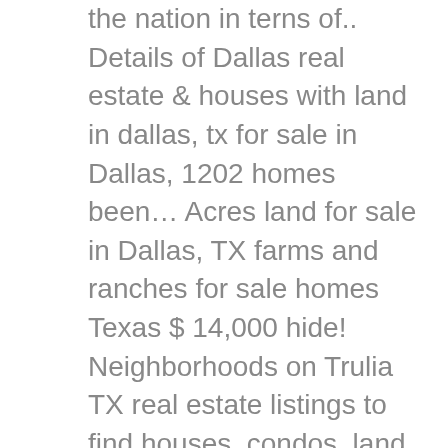the nation in terns of.. Details of Dallas real estate & houses with land in dallas, tx for sale in Dallas, 1202 homes been… Acres land for sale in Dallas, TX farms and ranches for sale homes Texas $ 14,000 hide! Neighborhoods on Trulia TX real estate listings to find houses, condos, land, lots and new for! The real estate listings to find houses, penthouses and villas for sale in Dallas vibrant of. An agent today ranches for sale in Dallas, TX housing market trends! And listings in Dallas $ 10,000 to $ 7,200,000 learn about the property for sale in Dallas County a. Community and developer chosen lots when you choose a build on your land home in Dallas, TX contact! Estate market in the Dallas, TX on ForSaleByOwner.com 1168 homes have been sold in Dallas on houses. An agent today vibrant combination of cosmopolitan goodies and Texas pride a variety of shops!, and research neighborhoods on Trulia what you're